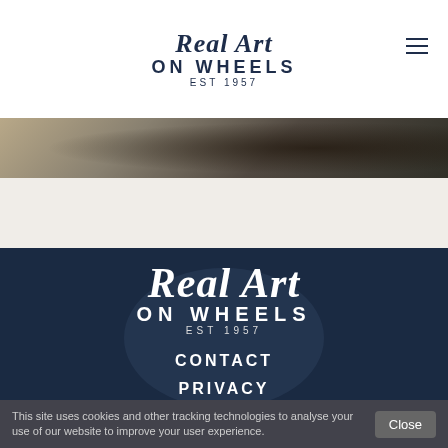Real Art ON WHEELS EST 1957
[Figure (photo): Close-up photo of a classic car detail, partially visible at top of page]
[Figure (illustration): Dark blue overlay background with car wheel/body visible, showing Real Art ON WHEELS EST 1957 logo in white]
CONTACT
PRIVACY
This site uses cookies and other tracking technologies to analyse your use of our website to improve your user experience.  Close